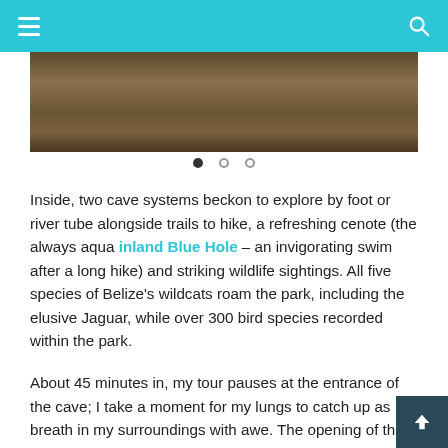Navigation bar with hamburger menu and search icon
[Figure (photo): Rocky terrain with soil and stones, partial view of cave or trail area in Belize]
Inside, two cave systems beckon to explore by foot or river tube alongside trails to hike, a refreshing cenote (the always aqua inland Blue Hole – an invigorating swim after a long hike) and striking wildlife sightings. All five species of Belize's wildcats roam the park, including the elusive Jaguar, while over 300 bird species recorded within the park.
About 45 minutes in, my tour pauses at the entrance of the cave; I take a moment for my lungs to catch up as I breath in my surroundings with awe. The opening of th